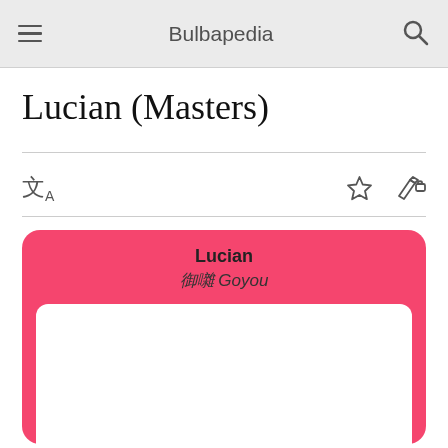Bulbapedia
Lucian (Masters)
[Figure (infographic): Info card with pink background showing 'Lucian' as name and '御 Goyou' as Japanese name, with a white image area below]
Lucian
御 Goyou